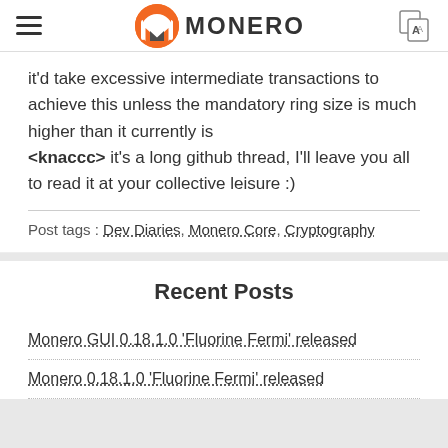MONERO
it'd take excessive intermediate transactions to achieve this unless the mandatory ring size is much higher than it currently is
<knaccc> it's a long github thread, I'll leave you all to read it at your collective leisure :)
Post tags : Dev Diaries, Monero Core, Cryptography
Recent Posts
Monero GUI 0.18.1.0 'Fluorine Fermi' released
Monero 0.18.1.0 'Fluorine Fermi' released